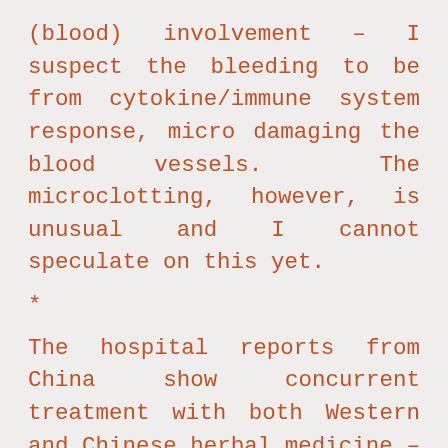(blood) involvement – I suspect the bleeding to be from cytokine/immune system response, micro damaging the blood vessels.  The microclotting, however, is unusual and I cannot speculate on this yet.
*
The hospital reports from China show concurrent treatment with both Western and Chinese herbal medicine – and show that this concurrent treatment improves outcomes: https://www.elotus.org/article/how-covid-19-2019-ncov-currently-